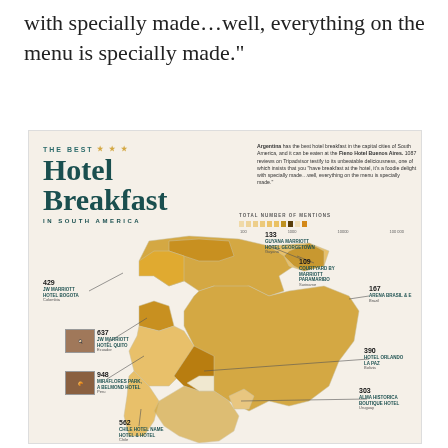with specially made…well, everything on the menu is specially made.”
[Figure (map): Infographic map of South America showing the best hotel breakfast locations by number of Tripadvisor mentions. Argentina has the best hotel breakfast in capital cities of South America, eaten at the Fieno Hotel Buenos Aires. Hotels shown: JW Marriott Hotel Bogota (Colombia) 429; JW Marriott Hotel Quito (Ecuador) 637; Miraflores Park, A Belmond Hotel (Peru) 948; Guyana Marriott Hotel Georgetown (Guyana) 133; Courtyard by Marriott Paramaribo (Suriname) 109; Arena Brasil e (Brazil) 167; Hotel Orlando La Paz (Bolivia) 390; Alma Historica Boutique Hotel (Uruguay) 303; (Chile hotel) 562.]